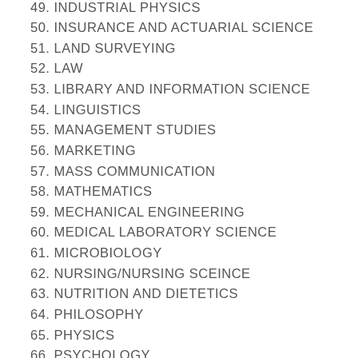49. INDUSTRIAL PHYSICS
50. INSURANCE AND ACTUARIAL SCIENCE
51. LAND SURVEYING
52. LAW
53. LIBRARY AND INFORMATION SCIENCE
54. LINGUISTICS
55. MANAGEMENT STUDIES
56. MARKETING
57. MASS COMMUNICATION
58. MATHEMATICS
59. MECHANICAL ENGINEERING
60. MEDICAL LABORATORY SCIENCE
61. MICROBIOLOGY
62. NURSING/NURSING SCEINCE
63. NUTRITION AND DIETETICS
64. PHILOSOPHY
65. PHYSICS
66. PSYCHOLOGY
67. PUBLIC HEALTH
68. QUANTITY SURVEYING
69. RELIGIOUS STUDIES